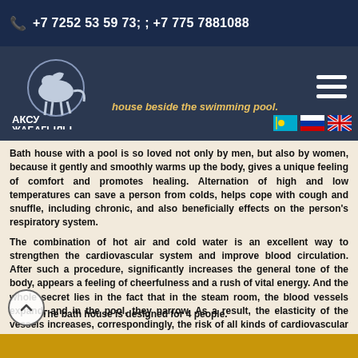+7 7252 53 59 73; ; +7 775 7881088
[Figure (logo): Aksu-Zhabagly nature reserve logo with horse silhouette and Cyrillic text]
Bath house beside the swimming pool.
Bath house with a pool is so loved not only by men, but also by women, because it gently and smoothly warms up the body, gives a unique feeling of comfort and promotes healing. Alternation of high and low temperatures can save a person from colds, helps cope with cough and snuffle, including chronic, and also beneficially effects on the person's respiratory system.
The combination of hot air and cold water is an excellent way to strengthen the cardiovascular system and improve blood circulation. After such a procedure, significantly increases the general tone of the body, appears a feeling of cheerfulness and a rush of vital energy. And the whole secret lies in the fact that in the steam room, the blood vessels expand, and in the pool, they narrow. As a result, the elasticity of the vessels increases, correspondingly, the risk of all kinds of cardiovascular diseases decreases.
The bath house is designed for 4 people.